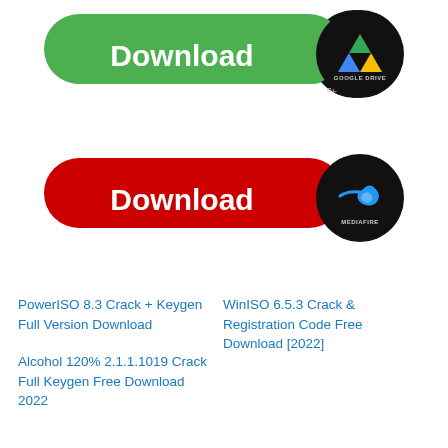[Figure (illustration): Green Download button with Google Drive logo circle on right]
[Figure (illustration): Red Download button with MediaFire logo circle on right]
PowerISO 8.3 Crack + Keygen Full Version Download
WinISO 6.5.3 Crack & Registration Code Free Download [2022]
Alcohol 120% 2.1.1.1019 Crack Full Keygen Free Download 2022